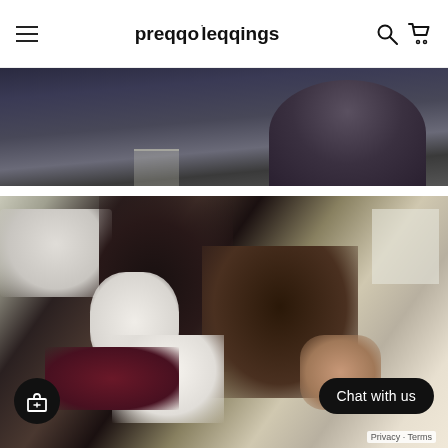preqqo leqqings
[Figure (photo): Photo of a person seen from behind, wearing a dark shirt, partially cropped at top of page]
[Figure (photo): Photo of people in what appears to be a medical or clinical setting, one person in ripped jeans and floral top, another in light top and dark pants, taken at an angle. Chat with us button and gift icon overlay visible.]